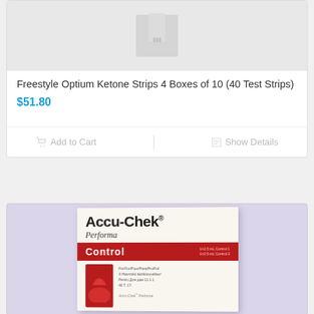[Figure (photo): Partial view of Freestyle Optium Ketone Strips product image at top of card]
Freestyle Optium Ketone Strips 4 Boxes of 10 (40 Test Strips)
$51.80
Add to Cart
Show Details
[Figure (photo): Accu-Chek Performa Control solution box on a light purple/lavender background]